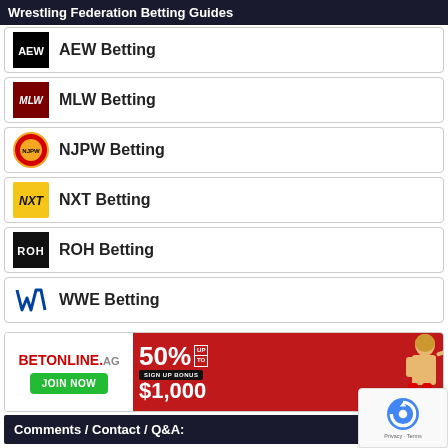Wrestling Federation Betting Guides
AEW Betting
MLW Betting
NJPW Betting
NXT Betting
ROH Betting
WWE Betting
[Figure (infographic): BetOnline.ag advertisement banner: 50% up to $1,000 sign up bonus with wrestler silhouette]
Comments / Contact / Q&A: